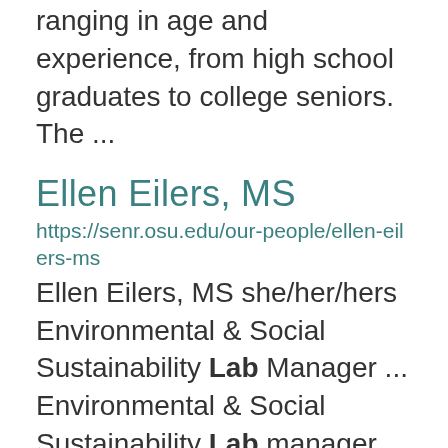ranging in age and experience, from high school graduates to college seniors. The ...
Ellen Eilers, MS
https://senr.osu.edu/our-people/ellen-eilers-ms
Ellen Eilers, MS she/her/hers Environmental & Social Sustainability Lab Manager ... Environmental & Social Sustainability Lab manager, Ellen is responsible for making efficient use of ... and initiating and developing research partnerships with internal and external collaborators. Prior to ...
SENR Hike Series Fall Semester,